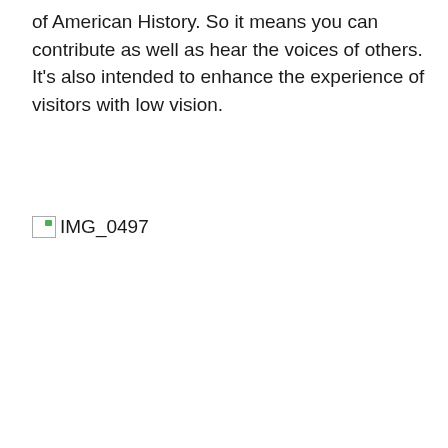of American History. So it means you can contribute as well as hear the voices of others. It's also intended to enhance the experience of visitors with low vision.
[Figure (photo): Broken image placeholder labeled IMG_0497]